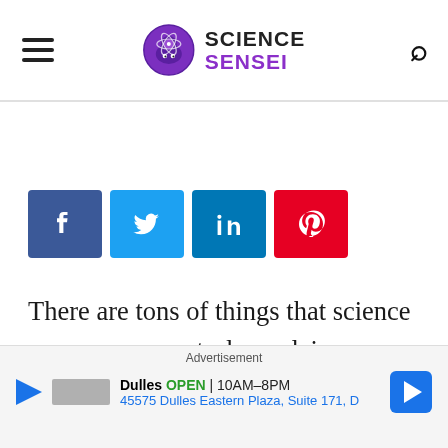SCIENCE SENSEI
[Figure (infographic): Social media share buttons: Facebook (blue), Twitter (light blue), LinkedIn (dark blue), Pinterest (red)]
There are tons of things that science nor anyone can truly explain. However, when it comes to the universe and space overall, science has been baffled numerous times.
[Figure (other): Advertisement banner: Dulles OPEN 10AM-8PM, 45575 Dulles Eastern Plaza, Suite 171, D]